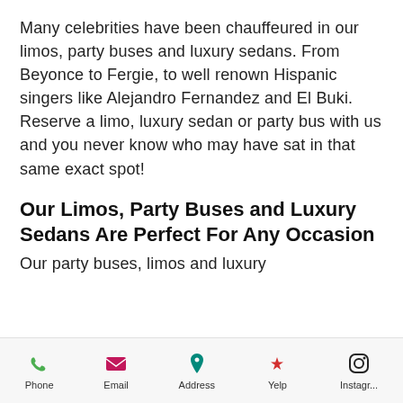Many celebrities have been chauffeured in our limos, party buses and luxury sedans. From Beyonce to Fergie, to well renown Hispanic singers like Alejandro Fernandez and El Buki. Reserve a limo, luxury sedan or party bus with us and you never know who may have sat in that same exact spot!
Our Limos, Party Buses and Luxury Sedans Are Perfect For Any Occasion
Our party buses, limos and luxury
Phone | Email | Address | Yelp | Instagr...